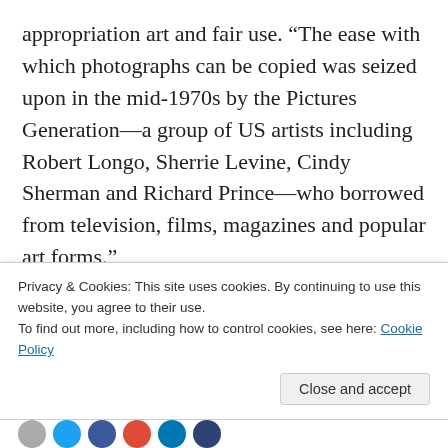appropriation art and fair use. “The ease with which photographs can be copied was seized upon in the mid-1970s by the Pictures Generation—a group of US artists including Robert Longo, Sherrie Levine, Cindy Sherman and Richard Prince—who borrowed from television, films, magazines and popular art forms.”
So is this really ‘blatant plagiarism’, or is this an example of the ever-elusive Fair Use? A trial date is
Privacy & Cookies: This site uses cookies. By continuing to use this website, you agree to their use.
To find out more, including how to control cookies, see here: Cookie Policy